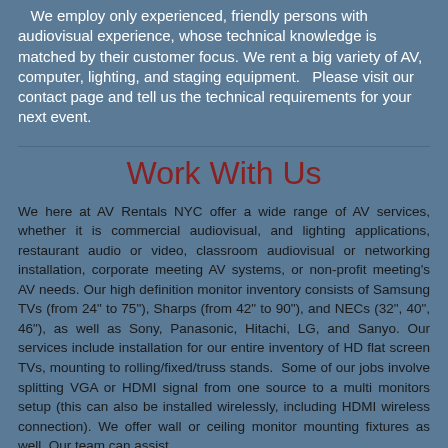We employ only experienced, friendly persons with audiovisual experience, whose technical knowledge is matched by their customer focus. We rent a big variety of AV, computer, lighting, and staging equipment.   Please visit our contact page and tell us the technical requirements for your next event.
Work With Us
We here at AV Rentals NYC offer a wide range of AV services, whether it is commercial audiovisual, and lighting applications, restaurant audio or video, classroom audiovisual or networking installation, corporate meeting AV systems, or non-profit meeting's AV needs. Our high definition monitor inventory consists of Samsung TVs (from 24" to 75"), Sharps (from 42" to 90"), and NECs (32", 40", 46"), as well as Sony, Panasonic, Hitachi, LG, and Sanyo. Our services include installation for our entire inventory of HD flat screen TVs, mounting to rolling/fixed/truss stands.  Some of our jobs involve splitting VGA or HDMI signal from one source to a multi monitors setup (this can also be installed wirelessly, including HDMI wireless connection). We offer wall or ceiling monitor mounting fixtures as well. Our team can assist